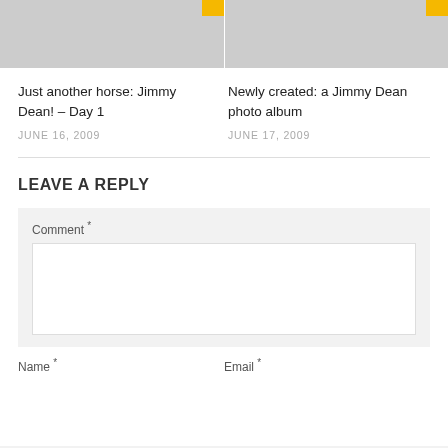[Figure (photo): Two placeholder gray thumbnail images side by side with small yellow badges in top-right corners]
Just another horse: Jimmy Dean! – Day 1
JUNE 16, 2009
Newly created: a Jimmy Dean photo album
JUNE 17, 2009
LEAVE A REPLY
Comment *
Name *
Email *